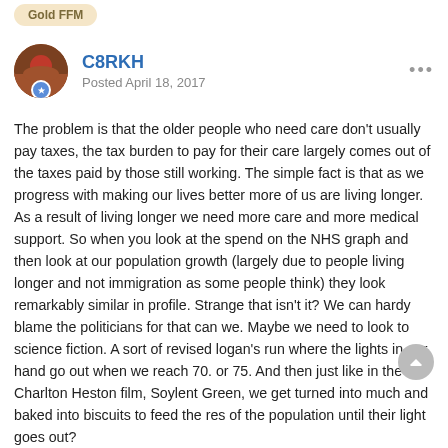Gold FFM
C8RKH
Posted April 18, 2017
The problem is that the older people who need care don't usually pay taxes, the tax burden to pay for their care largely comes out of the taxes paid by those still working.  The simple fact is that as we progress with making our lives better more of us are living longer. As a result of living longer we need more care and more medical support. So when you look at the spend on the NHS graph and then look at our population growth (largely due to people living longer and not immigration as some people think) they look remarkably similar in profile. Strange that isn't it?  We can hardy blame the politicians for that can we. Maybe we need to look to science fiction. A sort of revised logan's run where the lights in our hand go out when we reach 70. or 75. And then just like in the Charlton Heston film, Soylent Green, we get turned into much and baked into biscuits to feed the res of the population until their light goes out?
We cannot just keep on putting a higher and higher proportion of